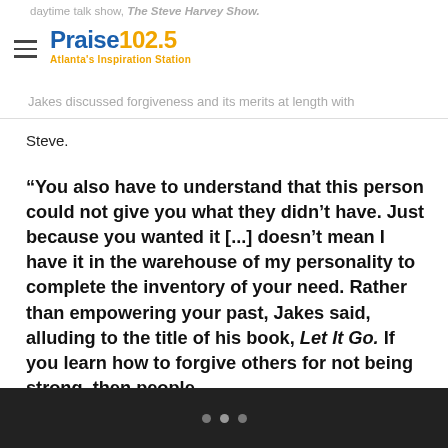daytime talk show, The Steve Harvey Show. Praise 102.5 Atlanta's Inspiration Station. Jakes discussed forgiveness and its merits at length with
Steve.
“You also have to understand that this person could not give you what they didn’t have. Just because you wanted it [...] doesn’t mean I have it in the warehouse of my personality to complete the inventory of your need. Rather than empowering your past, Jakes said, alluding to the title of his book, Let It Go. If you learn how to forgive others for not being strong, then people